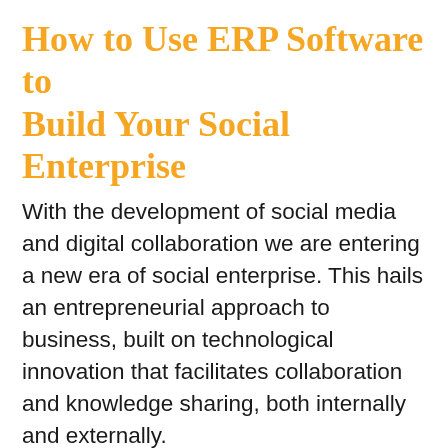How to Use ERP Software to Build Your Social Enterprise
With the development of social media and digital collaboration we are entering a new era of social enterprise. This hails an entrepreneurial approach to business, built on technological innovation that facilitates collaboration and knowledge sharing, both internally and externally.